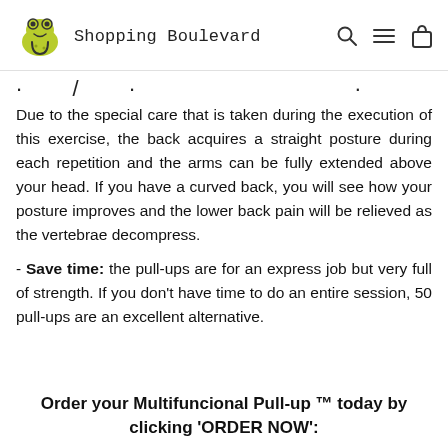Shopping Boulevard
Due to the special care that is taken during the execution of this exercise, the back acquires a straight posture during each repetition and the arms can be fully extended above your head. If you have a curved back, you will see how your posture improves and the lower back pain will be relieved as the vertebrae decompress.
- Save time: the pull-ups are for an express job but very full of strength. If you don't have time to do an entire session, 50 pull-ups are an excellent alternative.
Order your Multifuncional Pull-up ™ today by clicking 'ORDER NOW':